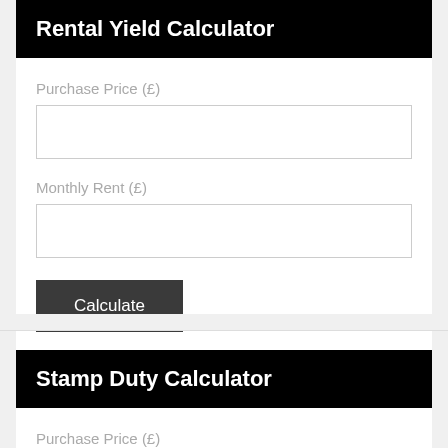Rental Yield Calculator
Purchase Price (£)
Monthly Rent (£)
Calculate
Stamp Duty Calculator
Purchase Price (£)